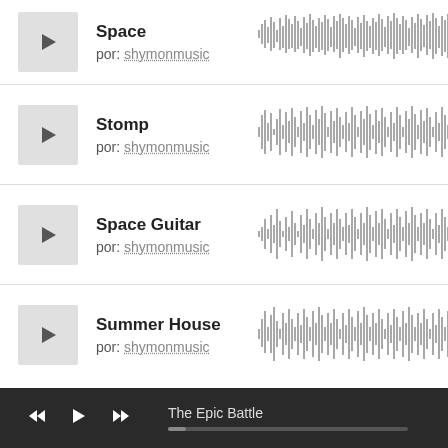Space — por: shymonmusic
[Figure (other): Audio waveform for Space track]
Stomp — por: shymonmusic
[Figure (other): Audio waveform for Stomp track]
Space Guitar — por: shymonmusic
[Figure (other): Audio waveform for Space Guitar track]
Summer House — por: shymonmusic
[Figure (other): Audio waveform for Summer House track]
The Epic Battle